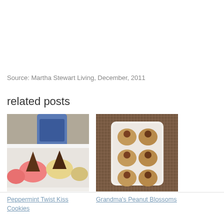Source: Martha Stewart Living, December, 2011
related posts
[Figure (photo): Photo of peppermint twist kiss cookies on a white tray — pink and yellow sugar cookies topped with chocolate Hershey's kisses]
[Figure (photo): Photo of peanut blossom cookies on a white rectangular plate on a brown woven place mat — peanut butter cookies topped with chocolate kisses]
Peppermint Twist Kiss Cookies
Grandma's Peanut Blossoms